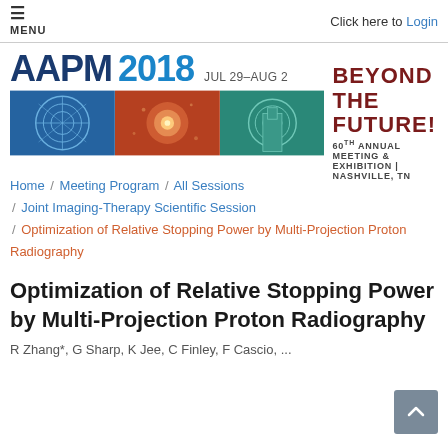≡ MENU   Click here to Login
[Figure (illustration): AAPM 2018 conference banner with logo, date JUL 29–AUG 2, images of Nashville and decorative patterns, and the slogan BEYOND THE FUTURE! 60TH ANNUAL MEETING & EXHIBITION | NASHVILLE, TN]
Home / Meeting Program / All Sessions / Joint Imaging-Therapy Scientific Session / Optimization of Relative Stopping Power by Multi-Projection Proton Radiography
Optimization of Relative Stopping Power by Multi-Projection Proton Radiography
R Zhang*, G Sharp, K Jee, C Finley, F Cascio, ...